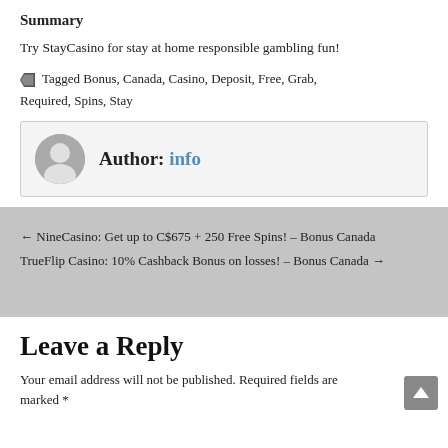Summary
Try StayCasino for stay at home responsible gambling fun!
Tagged Bonus, Canada, Casino, Deposit, Free, Grab, Required, Spins, Stay
Author: info
← NineCasino: Get up to C$675 + 250 Free Spins! – Bonus Canada
TrueFlip Casino: 10% Cashback Bonus on losses! – Bonus Canada →
Leave a Reply
Your email address will not be published. Required fields are marked *